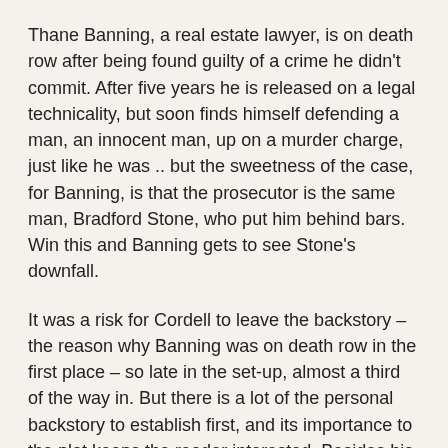Thane Banning, a real estate lawyer, is on death row after being found guilty of a crime he didn't commit. After five years he is released on a legal technicality, but soon finds himself defending a man, an innocent man, up on a murder charge, just like he was .. but the sweetness of the case, for Banning, is that the prosecutor is the same man, Bradford Stone, who put him behind bars. Win this and Banning gets to see Stone's downfall.
It was a risk for Cordell to leave the backstory – the reason why Banning was on death row in the first place – so late in the set-up, almost a third of the way in. But there is a lot of the personal backstory to establish first, and its importance to the plot keeps the reader interested. Besides his old crime is intricately linked to the new on. No spoilers here.
Banning, a novice criminal lawyer, doesn't start his new role well: everything, personal and professional, goes wrong and before the case really heats up Banning is heading for disaster. But his